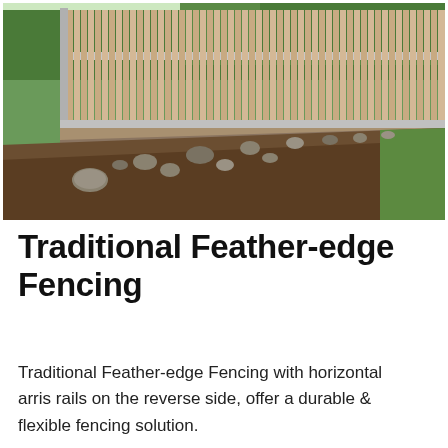[Figure (photo): Photograph of a traditional feather-edge wooden fence with vertical pale boards and metal posts, running along a landscaped border with rocks and soil, with green trees in the background and grass to the right.]
Traditional Feather-edge Fencing
Traditional Feather-edge Fencing with horizontal arris rails on the reverse side, offer a durable & flexible fencing solution.